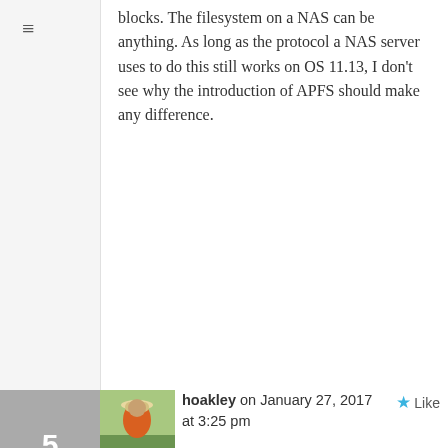blocks. The filesystem on a NAS can be anything. As long as the protocol a NAS server uses to do this still works on OS 11.13, I don't see why the introduction of APFS should make any difference.
hoakley on January 27, 2017 at 3:25 pm
Have had a chance to think about this more clearly and without getting swallowed in my own (weak) analogy.
You're perfectly correct. I'll amend the article shortly and hopefully get it right this time. Thanks for pointing this out.
Howard.